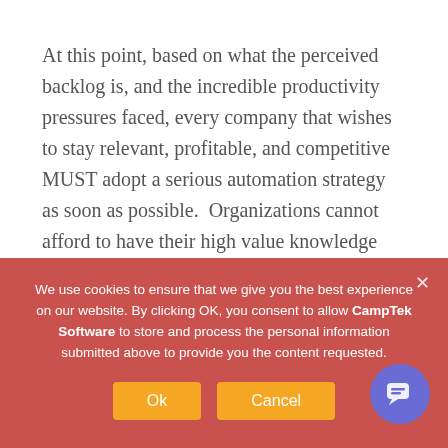At this point, based on what the perceived backlog is, and the incredible productivity pressures faced, every company that wishes to stay relevant, profitable, and competitive MUST adopt a serious automation strategy as soon as possible.  Organizations cannot afford to have their high value knowledge workers spending time on easily automated tasks.  Whether it be day to day tasks that are specific to groups and
We use cookies to ensure that we give you the best experience on our website. By clicking OK, you consent to allow CampTek Software to store and process the personal information submitted above to provide you the content requested.